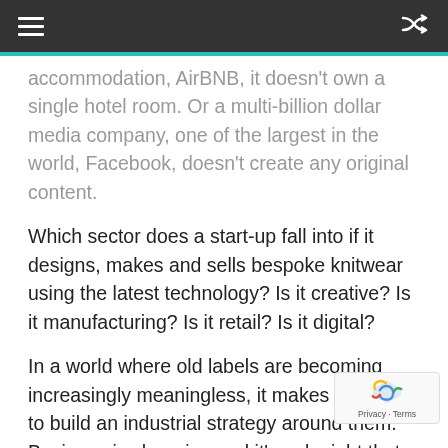accommodation, AirBNB, it doesn't own a single hotel room. Or a multi-billion dollar media company, one of the largest in the world, Facebook, doesn't create any original content.
Which sector does a start-up fall into if it designs, makes and sells bespoke knitwear using the latest technology? Is it creative? Is it manufacturing? Is it retail? Is it digital?
In a world where old labels are becoming increasingly meaningless, it makes no sense to build an industrial strategy around them. Business is changing and it's only right that government's way of interacting with it changes too.
That's why I'll be taking this new approach to industry. And that approach is the first of my 6